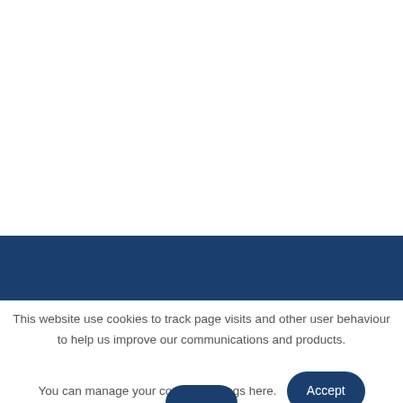This website use cookies to track page visits and other user behaviour to help us improve our communications and products. You can manage your cookies settings here.